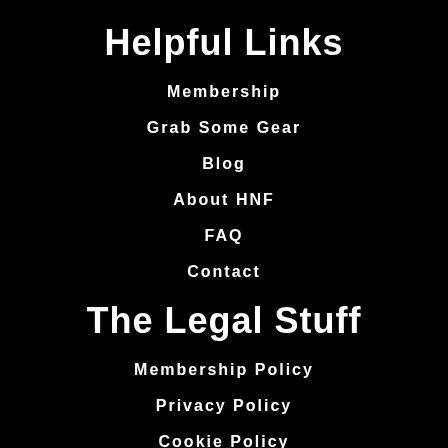Helpful Links
Membership
Grab Some Gear
Blog
About HNF
FAQ
Contact
The Legal Stuff
Membership Policy
Privacy Policy
Cookie Policy